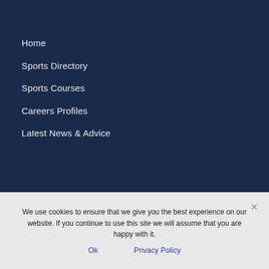Home
Sports Directory
Sports Courses
Careers Profiles
Latest News & Advice
We use cookies to ensure that we give you the best experience on our website. If you continue to use this site we will assume that you are happy with it.
Ok
Privacy Policy